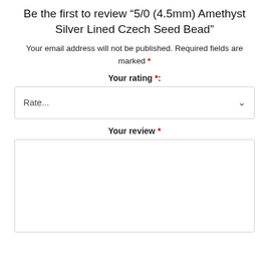Be the first to review “5/0 (4.5mm) Amethyst Silver Lined Czech Seed Bead”
Your email address will not be published. Required fields are marked *
Your rating *:
Rate...
Your review *